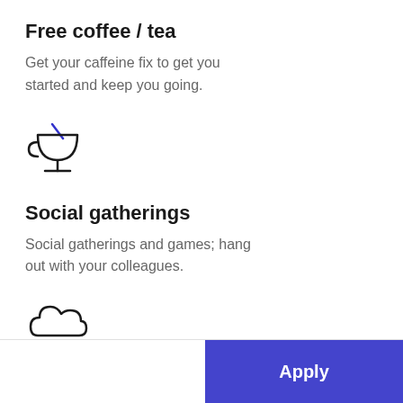Free coffee / tea
Get your caffeine fix to get you started and keep you going.
[Figure (illustration): Cup/trophy icon with a blue diagonal line accent]
Social gatherings
Social gatherings and games; hang out with your colleagues.
[Figure (illustration): Cloud icon partially visible at bottom]
Apply